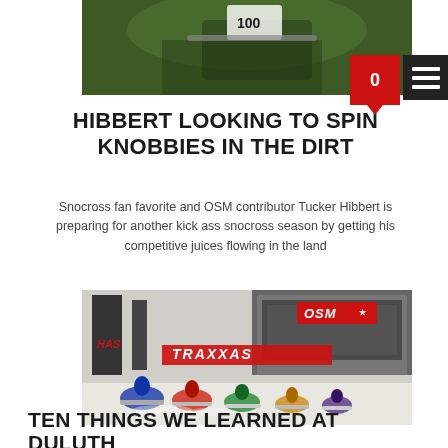[Figure (photo): Close-up photo of a motocross rider on a dirt bike, green/outdoor background, helmet and handlebars visible with number plate]
HIBBERT LOOKING TO SPIN KNOBBIES IN THE DIRT
Snocross fan favorite and OSM contributor Tucker Hibbert is preparing for another kick ass snocross season by getting his competitive juices flowing in the land
[Figure (photo): Snocross race start with multiple snowmobile riders, OSM and Traxxas banners visible, stadium in background, snowy track]
TEN THINGS WE LEARNED AT DULUTH